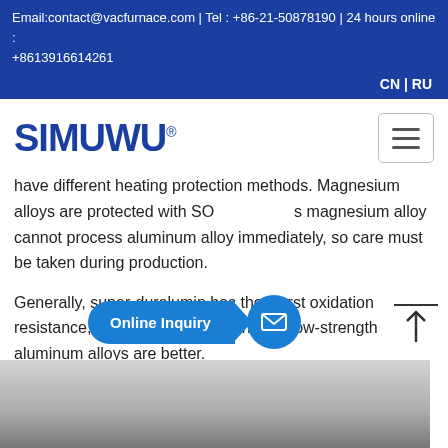Email:contact@vacfurnace.com | Tel : +86-21-50878190 | 24 hours online : +8613916614261
CN | RU
[Figure (logo): SIMUWU registered trademark logo in dark blue bold text]
have different heating protection methods. Magnesium alloys are protected with SO... magnesium alloy cannot process aluminum alloy immediately, so care must be taken during production.
Generally, super-duralumin has the worst oxidation resistance, followed by duralumin, and low-strength aluminum alloys are better.
[Figure (photo): Photo of metallic aluminum alloy surface, grayscale]